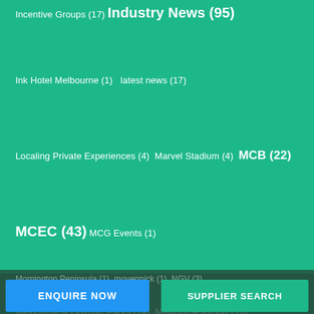Incentive Groups (17)  Industry News (95)
Ink Hotel Melbourne (1)  latest news (17)
Localing Private Experiences (4)  Marvel Stadium (4)  MCB (22)
MCEC (43)  MCG Events (1)
Melbourne & Olympic Parks (14)  Melbourne Airport (13)
Melbourne Edge (5)  Melbourne Football Club (2)
Melbourne Skydeck (1)  Melbourne Star (1)  Melbourne Zoo (6)
Microflite (1)  Moonlit Sanctuary Wildlife Conservation Park (3)
Mornington Peninsula (1)  movenpick (1)  NGV (3)
Novotel Melbourne South Wharf (1)  Oakridge Wines (2)
ENQUIRE NOW
SUPPLIER SEARCH